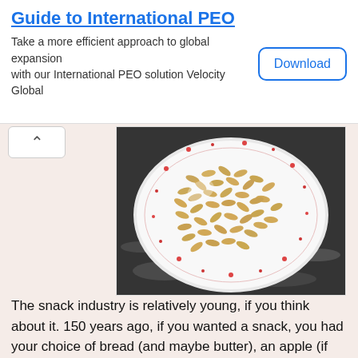Guide to International PEO
Take a more efficient approach to global expansion with our International PEO solution Velocity Global
Download
[Figure (photo): A white bowl with red floral pattern filled with sunflower seeds or similar snack, placed on a dark granite surface.]
The snack industry is relatively young, if you think about it. 150 years ago, if you wanted a snack, you had your choice of bread (and maybe butter), an apple (if you had an apple tree), maybe a homemade cookie or homemade doughnut, or maybe a glass of milk. I imagine that most of the time, if you declared that you wanted a snack, you'd be told that you'd spoil your appetite for the next meal if you ate anything.
And yet, today, snack foods take up a large chunk of the